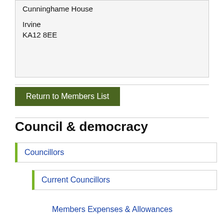Cunninghame House

Irvine
KA12 8EE
Return to Members List
Council & democracy
Councillors
Current Councillors
Members Expenses & Allowances